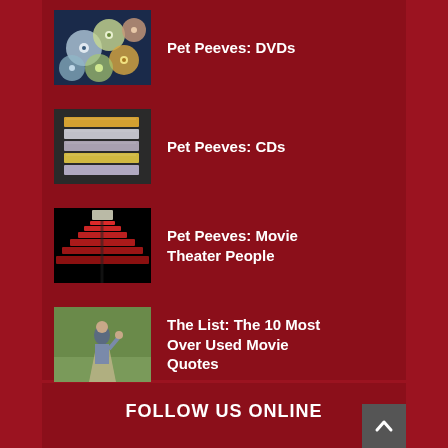Pet Peeves: DVDs
Pet Peeves: CDs
Pet Peeves: Movie Theater People
The List: The 10 Most Over Used Movie Quotes
FOLLOW US ONLINE